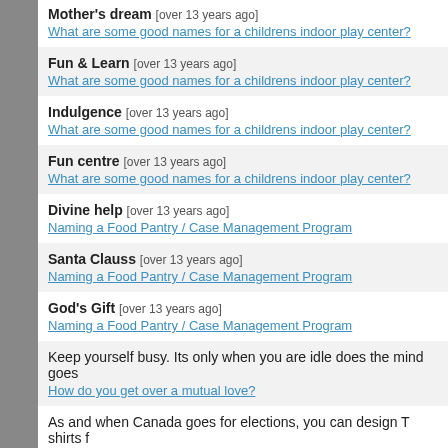Mother's dream [over 13 years ago]
What are some good names for a childrens indoor play center?
Fun & Learn [over 13 years ago]
What are some good names for a childrens indoor play center?
Indulgence [over 13 years ago]
What are some good names for a childrens indoor play center?
Fun centre [over 13 years ago]
What are some good names for a childrens indoor play center?
Divine help [over 13 years ago]
Naming a Food Pantry / Case Management Program
Santa Clauss [over 13 years ago]
Naming a Food Pantry / Case Management Program
God's Gift [over 13 years ago]
Naming a Food Pantry / Case Management Program
Keep yourself busy. Its only when you are idle does the mind goes
How do you get over a mutual love?
As and when Canada goes for elections, you can design T shirts f
What should I do to start a business?
How about contacting individual organizatons (by emails) and des
PEA/PETA [almost 14 years ago]